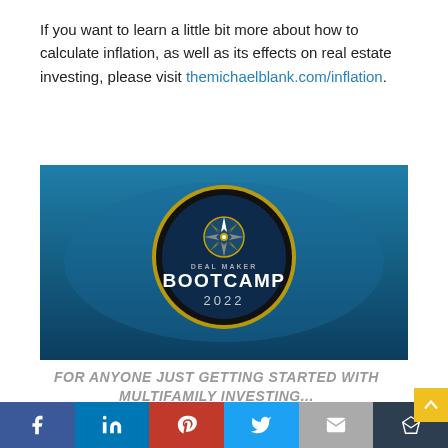If you want to learn a little bit more about how to calculate inflation, as well as its effects on real estate investing, please visit themichaelblank.com/inflation.
[Figure (logo): Deal Maker Bootcamp 2022 banner with compass logo on teal/dark blue background]
FOR ANYONE JUST GETTING STARTED WITH MULTIFAMILY INVESTING...
GET THE COMPLETE HANDS-ON EXPERIENCE OF WHAT DOING YOUR FIRST APARTMENT DEAL WILL BE LIKE SO YOU WILL HAVE THE CONFIDENCE & SKILL TO CLOSE YOUR
Facebook LinkedIn Pinterest Twitter Email Crown/Feather social share buttons